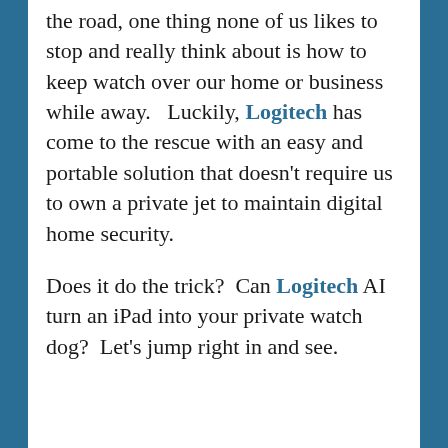...Before packing up and hitting the road, one thing none of us likes to stop and really think about is how to keep watch over our home or business while away.   Luckily, Logitech has come to the rescue with an easy and portable solution that doesn't require us to own a private jet to maintain digital home security.
Does it do the trick?  Can Logitech AI turn an iPad into your private watch dog?  Let's jump right in and see.